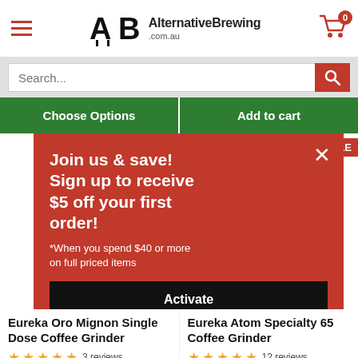AlternativeBrewing.com.au
Search...
Choose Options
Add to cart
Join us & save! Sign up to receive $5 off your first order!
*When you spend $40 or more on full priced items
Activate
Eureka Oro Mignon Single Dose Coffee Grinder
3 reviews
Eureka Atom Specialty 65 Coffee Grinder
12 reviews